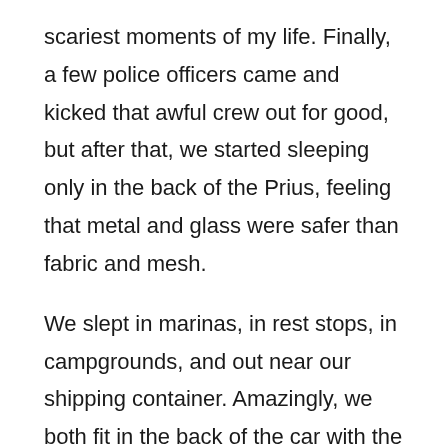scariest moments of my life. Finally, a few police officers came and kicked that awful crew out for good, but after that, we started sleeping only in the back of the Prius, feeling that metal and glass were safer than fabric and mesh.
We slept in marinas, in rest stops, in campgrounds, and out near our shipping container. Amazingly, we both fit in the back of the car with the seats folded down, and enjoyed the fresh scent of night air wafting through our cracked windows.